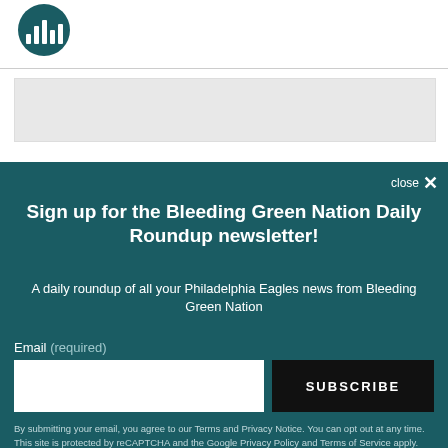[Figure (logo): Circular teal logo with white bar chart / audio bars icon]
[Figure (other): Gray advertisement placeholder banner]
Sign up for the Bleeding Green Nation Daily Roundup newsletter!
A daily roundup of all your Philadelphia Eagles news from Bleeding Green Nation
Email (required)
SUBSCRIBE
By submitting your email, you agree to our Terms and Privacy Notice. You can opt out at any time. This site is protected by reCAPTCHA and the Google Privacy Policy and Terms of Service apply.